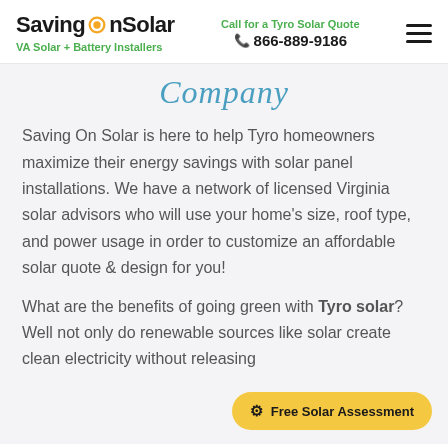SavingOnSolar — VA Solar + Battery Installers | Call for a Tyro Solar Quote | 866-889-9186
Company
Saving On Solar is here to help Tyro homeowners maximize their energy savings with solar panel installations. We have a network of licensed Virginia solar advisors who will use your home's size, roof type, and power usage in order to customize an affordable solar quote & design for you!
What are the benefits of going green with Tyro solar? Well not only do renewable sources like solar create clean electricity without releasing